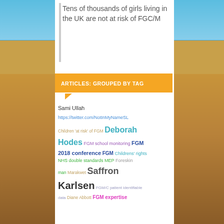Tens of thousands of girls living in the UK are not at risk of FGC/M
ARTICLES: GROUPED BY TAG
Sami Ullah
https://twitter.com/NotInMyNameSL
Children 'at risk' of FGM  Deborah Hodes  FGM school monitoring  FGM 2018 conference  FGM  Childrens' rights  NHS double standards  MEP  Foreskin man  Marakwet  Saffron Karlsen  FGM/C patient identifiable data  Diane Abbott  FGM expertise